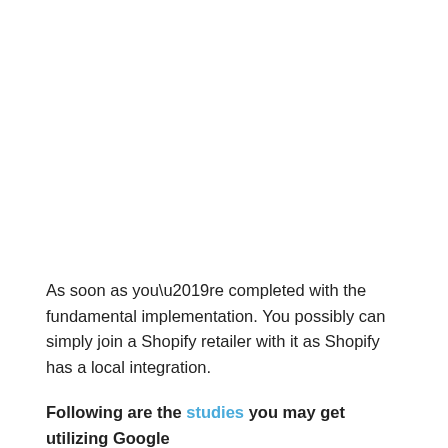As soon as you’re completed with the fundamental implementation. You possibly can simply join a Shopify retailer with it as Shopify has a local integration.
Following are the studies you may get utilizing Google